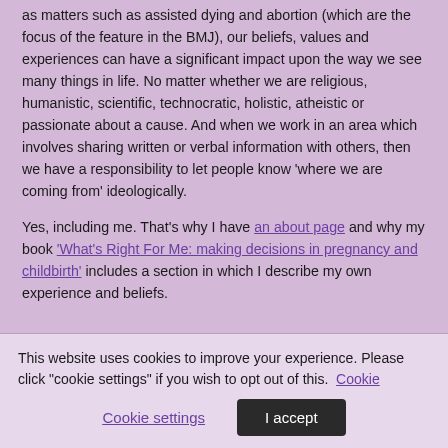as matters such as assisted dying and abortion (which are the focus of the feature in the BMJ), our beliefs, values and experiences can have a significant impact upon the way we see many things in life. No matter whether we are religious, humanistic, scientific, technocratic, holistic, atheistic or passionate about a cause. And when we work in an area which involves sharing written or verbal information with others, then we have a responsibility to let people know 'where we are coming from' ideologically.
Yes, including me. That's why I have an about page and why my book 'What's Right For Me: making decisions in pregnancy and childbirth' includes a section in which I describe my own experience and beliefs.
This website uses cookies to improve your experience. Please click "cookie settings" if you wish to opt out of this. Cookie settings | I accept